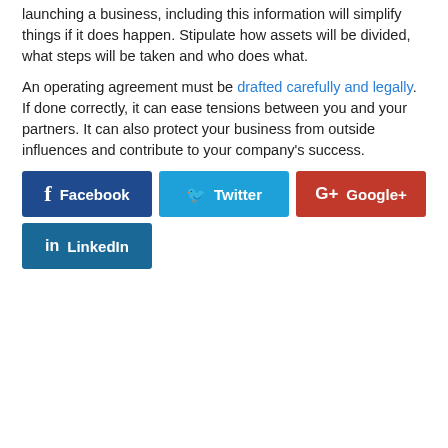launching a business, including this information will simplify things if it does happen. Stipulate how assets will be divided, what steps will be taken and who does what.
An operating agreement must be drafted carefully and legally. If done correctly, it can ease tensions between you and your partners. It can also protect your business from outside influences and contribute to your company's success.
[Figure (infographic): Social media sharing buttons: Facebook (dark blue), Twitter (light blue), Google+ (red), LinkedIn (teal blue)]